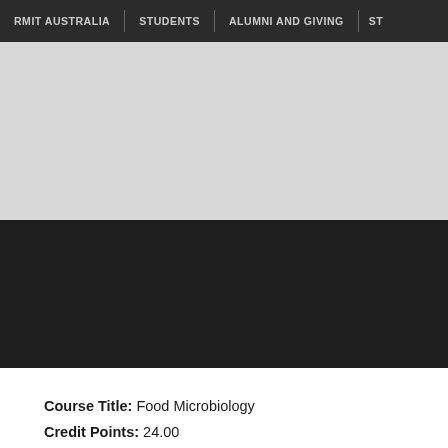RMIT AUSTRALIA | STUDENTS | ALUMNI AND GIVING | ST
[Figure (photo): Light grey hero image area, likely a banner or header image placeholder for an RMIT course page]
[Figure (photo): Dark/black banner area below the hero image, part of the RMIT website page design]
Course Title: Food Microbiology
Credit Points: 24.00